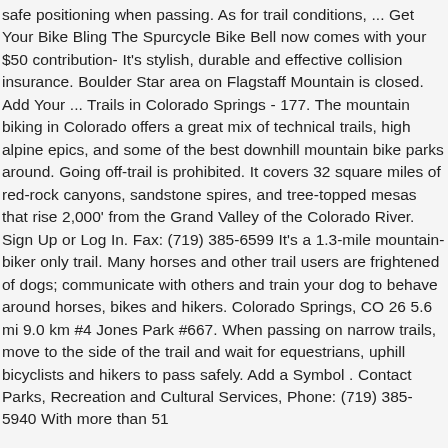safe positioning when passing. As for trail conditions, ... Get Your Bike Bling The Spurcycle Bike Bell now comes with your $50 contribution- It's stylish, durable and effective collision insurance. Boulder Star area on Flagstaff Mountain is closed. Add Your ... Trails in Colorado Springs - 177. The mountain biking in Colorado offers a great mix of technical trails, high alpine epics, and some of the best downhill mountain bike parks around. Going off-trail is prohibited. It covers 32 square miles of red-rock canyons, sandstone spires, and tree-topped mesas that rise 2,000' from the Grand Valley of the Colorado River. Sign Up or Log In. Fax: (719) 385-6599 It's a 1.3-mile mountain-biker only trail. Many horses and other trail users are frightened of dogs; communicate with others and train your dog to behave around horses, bikes and hikers. Colorado Springs, CO 26 5.6 mi 9.0 km #4 Jones Park #667. When passing on narrow trails, move to the side of the trail and wait for equestrians, uphill bicyclists and hikers to pass safely. Add a Symbol . Contact Parks, Recreation and Cultural Services, Phone: (719) 385-5940 With more than 51